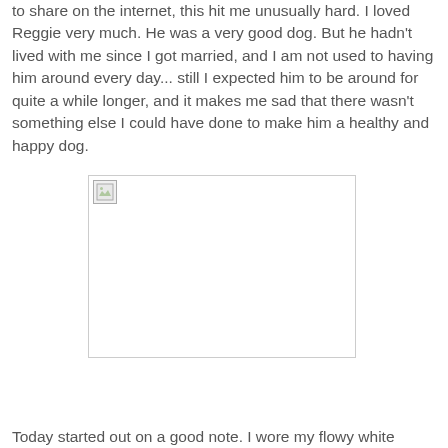to share on the internet, this hit me unusually hard. I loved Reggie very much. He was a very good dog. But he hadn't lived with me since I got married, and I am not used to having him around every day... still I expected him to be around for quite a while longer, and it makes me sad that there wasn't something else I could have done to make him a healthy and happy dog.
[Figure (photo): A broken/missing image placeholder with a small broken image icon in the top-left corner, shown as a white rectangle with a thin border.]
Today started out on a good note. I wore my flowy white